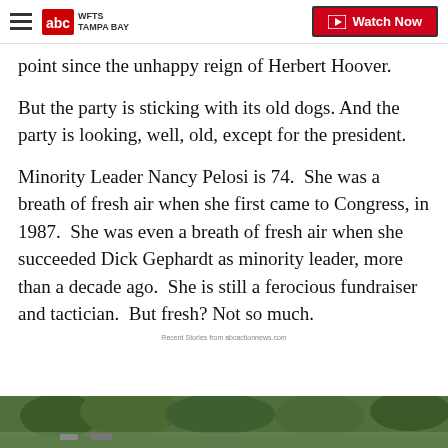WFTS TAMPA BAY | Watch Now
point since the unhappy reign of Herbert Hoover.
But the party is sticking with its old dogs. And the party is looking, well, old, except for the president.
Minority Leader Nancy Pelosi is 74.  She was a breath of fresh air when she first came to Congress, in 1987.  She was even a breath of fresh air when she succeeded Dick Gephardt as minority leader, more than a decade ago.  She is still a ferocious fundraiser and tactician.  But fresh? Not so much.
Recent Stories from abcactionnews.com
[Figure (photo): Outdoor scene with vegetation and water, bottom strip of page]